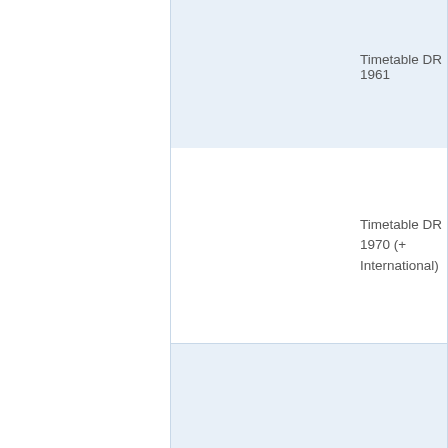Timetable DR 1961
Timetable DR 1970 (+ International)
Timetable DR 1970 natio...
Displaying 1 to 14 (of 14 products)
Copyright © 2... Powered...